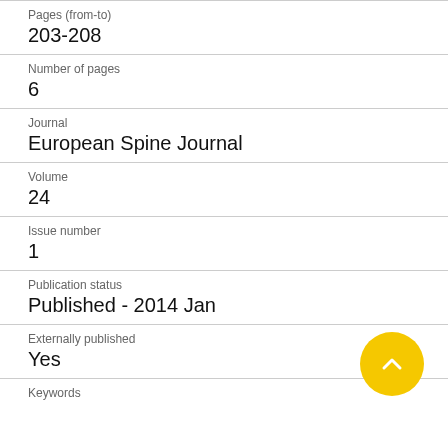Pages (from-to)
203-208
Number of pages
6
Journal
European Spine Journal
Volume
24
Issue number
1
Publication status
Published - 2014 Jan
Externally published
Yes
Keywords